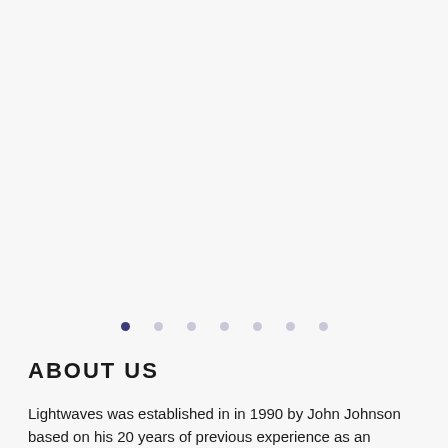[Figure (other): A row of seven navigation dots; the first dot is dark navy/purple and the remaining six are light grey, indicating a carousel or slideshow navigation indicator.]
ABOUT US
Lightwaves was established in in 1990 by John Johnson based on his 20 years of previous experience as an